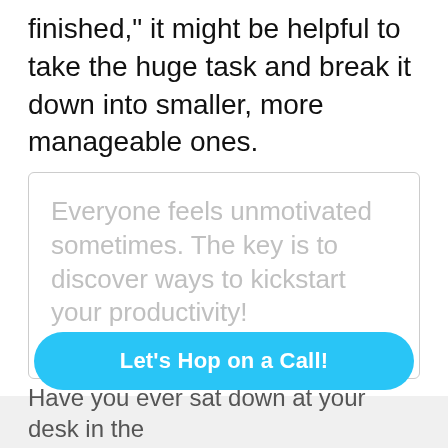finished," it might be helpful to take the huge task and break it down into smaller, more manageable ones.
[Figure (screenshot): Tweet box with light gray text reading: 'Everyone feels unmotivated sometimes. The key is to discover ways to kickstart your productivity!' with a 'CLICK TO TWEET' link and Twitter bird icon at bottom right.]
Let's Hop on a Call!
Have you ever sat down at your desk in the